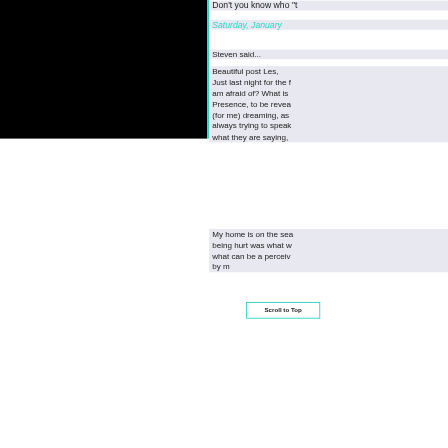Don't you know who "t
Saturday, January
Steven said...
Beautiful post Les, Just last night for the f am afraid of? What is Presence, to be revea (for me) dreaming, as always trying to speak what they are saying,
My home is on the sea being hurt was what w what can be a perceiv by m
Scroll to Top